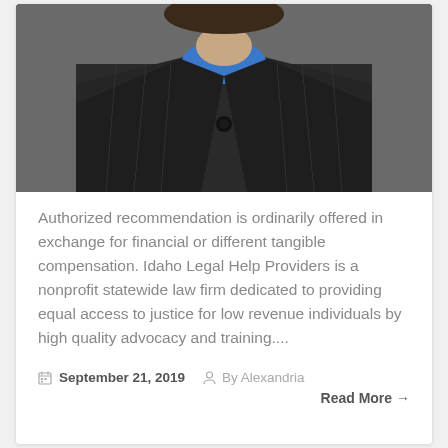[Figure (photo): Close-up photo of a person wearing a dark pinstripe blazer with a blue top visible underneath, torso and lower face visible]
Authorized recommendation is ordinarily offered in exchange for financial or different tangible compensation. Idaho Legal Help Providers is a nonprofit statewide law firm dedicated to providing equal access to justice for low revenue individuals by high quality advocacy and training....
September 21, 2019   By Alexandria
Read More →